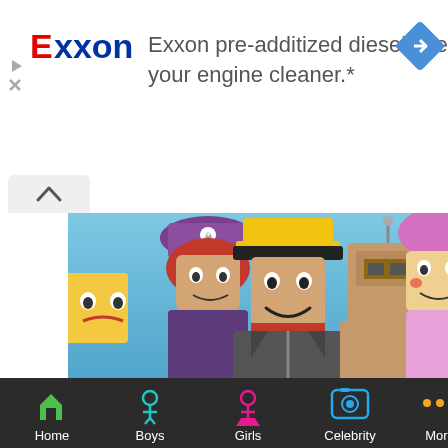[Figure (infographic): Exxon advertisement banner with Exxon logo in red/blue text, navigation diamond icon, and ad text: Exxon pre-additized diesel keeps your engine cleaner.*]
[Figure (photo): Roblox game characters group photo: five blocky characters including a pirate girl with red hair, a construction worker in yellow hat and leather jacket, a cardboard box robot, a clown-like character, and a yellow head character. Blue sky background.]
Cool Math Games Unblocked – Free Online Math Games For Kids
[Figure (infographic): Bottom navigation bar with icons and labels: Home (green house icon), Boys (teal person icon), Girls (pink person icon), Celebrity (blue camera icon), More (orange dots icon)]